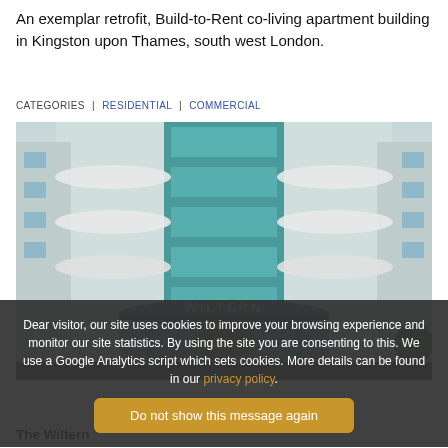An exemplar retrofit, Build-to-Rent co-living apartment building in Kingston upon Thames, south west London.
CATEGORIES | RESIDENTIAL | COMMERCIAL
[Figure (photo): Exterior photograph of The Wiltern building – a modern co-living apartment block with teal/turquoise glass facade, curved white balconies, and a prominent gold-accented entrance canopy with 'WILTERN' lettering.]
Dear visitor, our site uses cookies to improve your browsing experience and monitor our site statistics. By using the site you are consenting to this. We use a Google Analytics script which sets cookies. More details can be found in our privacy policy.
Do not show this message again
The Wiltern